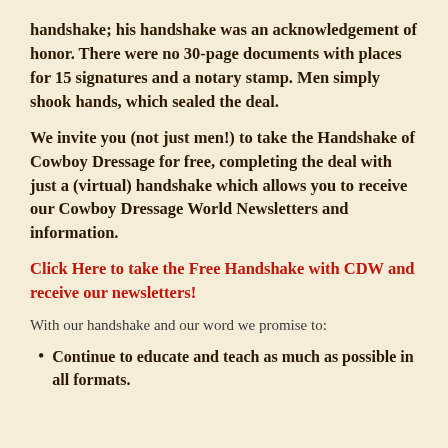handshake; his handshake was an acknowledgement of honor. There were no 30-page documents with places for 15 signatures and a notary stamp. Men simply shook hands, which sealed the deal.
We invite you (not just men!) to take the Handshake of Cowboy Dressage for free, completing the deal with just a (virtual) handshake which allows you to receive our Cowboy Dressage World Newsletters and information.
Click Here to take the Free Handshake with CDW and receive our newsletters!
With our handshake and our word we promise to:
Continue to educate and teach as much as possible in all formats.